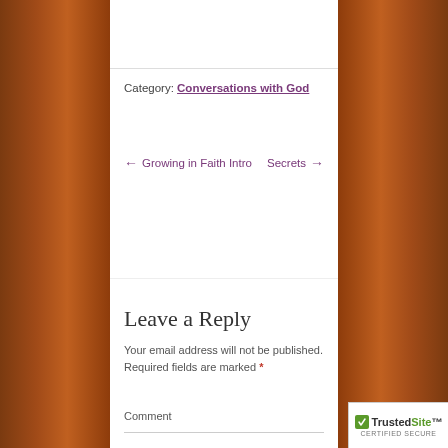Category: Conversations with God
← Growing in Faith Intro   Secrets →
Leave a Reply
Your email address will not be published. Required fields are marked *
Comment